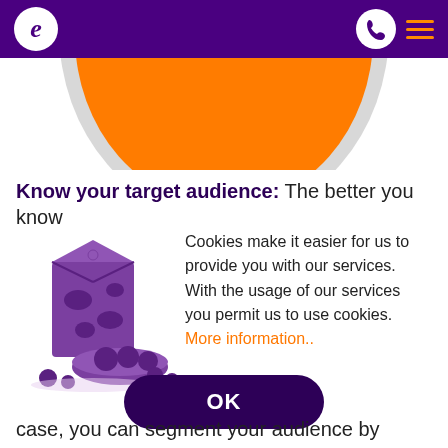[Figure (logo): Purple header bar with white circle 'e' logo on left, white phone icon circle and orange hamburger menu on right]
[Figure (illustration): Orange semicircle / pie chart graphic partially visible, clipped at top]
Know your target audience: The better you know
[Figure (illustration): Purple milk carton with cow spots, bowl of purple cookies, and scattered cookies illustration]
Cookies make it easier for us to provide you with our services. With the usage of our services you permit us to use cookies. More information..
[Figure (other): Dark purple OK button with rounded pill shape]
case, you can segment your audience by